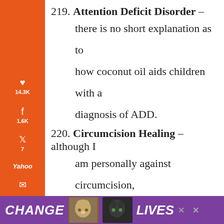219. Attention Deficit Disorder – there is no short explanation as to how coconut oil aids children with a diagnosis of ADD.
220. Circumcision Healing – although I am personally against circumcision, I have read that coconut oil is a really great healer for this.
221. Cradle Cap – having issues with dry
[Figure (infographic): Orange sidebar with social sharing icons and counts: Pinterest 14.3K, Facebook 1.6K, Twitter 7, Yahoo, Email, Print. Bottom shows 15.8K SHARES.]
[Figure (infographic): Purple advertisement banner at bottom reading CHANGE LIVES with cat images]